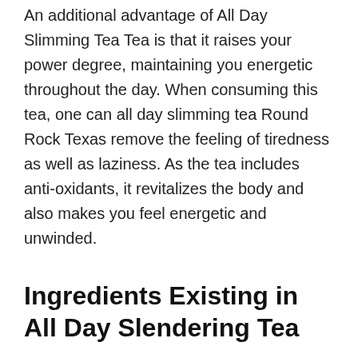An additional advantage of All Day Slimming Tea Tea is that it raises your power degree, maintaining you energetic throughout the day. When consuming this tea, one can all day slimming tea Round Rock Texas remove the feeling of tiredness as well as laziness. As the tea includes anti-oxidants, it revitalizes the body and also makes you feel energetic and unwinded.
Ingredients Existing in All Day Slendering Tea
Components used in All Day Slendering Tea are confirmed to be effective in weight management. The adhering to are the elements present in the formula.